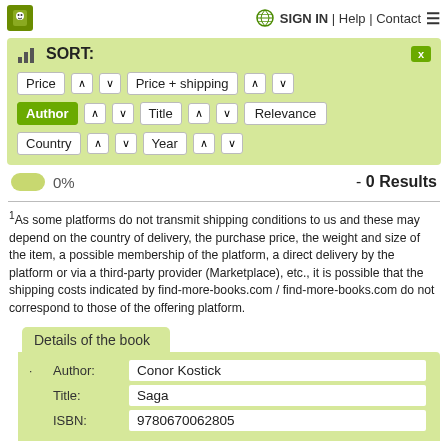SIGN IN | Help | Contact
SORT:
Price ∧ ∨   Price + shipping ∧ ∨   Author ∧ ∨   Title ∧ ∨   Relevance   Country ∧ ∨   Year ∧ ∨
0%  - 0 Results
1As some platforms do not transmit shipping conditions to us and these may depend on the country of delivery, the purchase price, the weight and size of the item, a possible membership of the platform, a direct delivery by the platform or via a third-party provider (Marketplace), etc., it is possible that the shipping costs indicated by find-more-books.com / find-more-books.com do not correspond to those of the offering platform.
Details of the book
|  | Field | Value |
| --- | --- | --- |
| · | Author: | Conor Kostick |
|  | Title: | Saga |
|  | ISBN: | 9780670062805 |